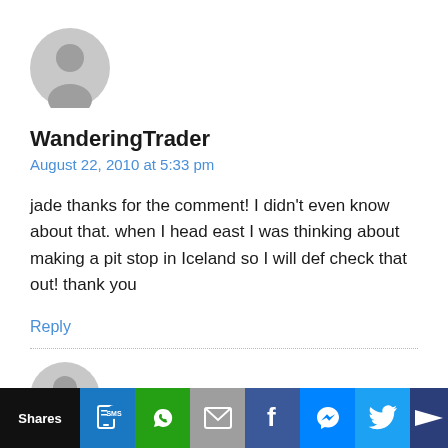[Figure (illustration): Gray default user avatar circle icon]
WanderingTrader
August 22, 2010 at 5:33 pm
jade thanks for the comment! I didn't even know about that. when I head east I was thinking about making a pit stop in Iceland so I will def check that out! thank you
Reply
[Figure (illustration): Gray default user avatar circle icon (partial, bottom)]
Shares | SMS | WhatsApp | Email | Facebook | Messenger | Twitter | More